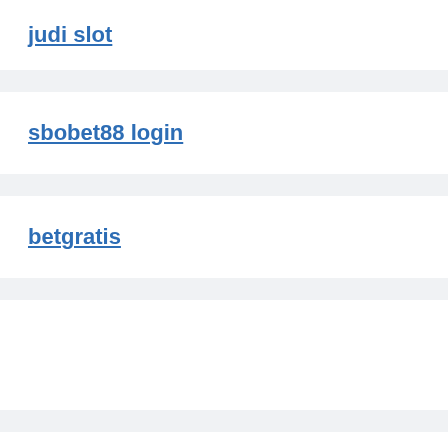judi slot
sbobet88 login
betgratis
jadwal slot gacor hari ini